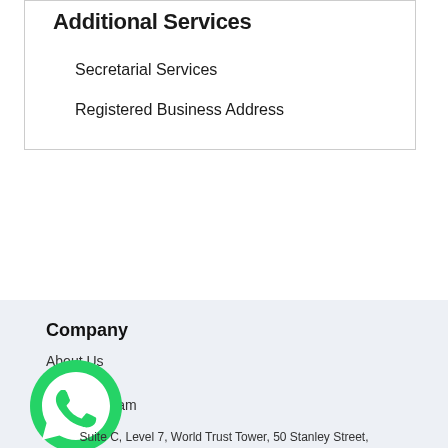Additional Services
Secretarial Services
Registered Business Address
Company
About Us
Our Blog
Join Our Team
[Figure (logo): WhatsApp green circle logo with phone handset icon]
Suite C, Level 7, World Trust Tower, 50 Stanley Street,